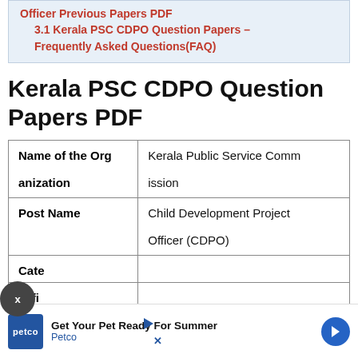Officer Previous Papers PDF
3.1 Kerala PSC CDPO Question Papers – Frequently Asked Questions(FAQ)
Kerala PSC CDPO Question Papers PDF
|  |  |
| --- | --- |
| Name of the Organization | Kerala Public Service Commission |
| Post Name | Child Development Project Officer (CDPO) |
| Category |  |
| Officer |  |